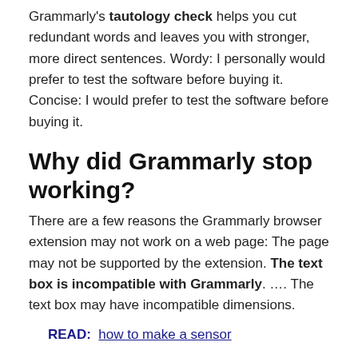Grammarly's tautology check helps you cut redundant words and leaves you with stronger, more direct sentences. Wordy: I personally would prefer to test the software before buying it. Concise: I would prefer to test the software before buying it.
Why did Grammarly stop working?
There are a few reasons the Grammarly browser extension may not work on a web page: The page may not be supported by the extension. The text box is incompatible with Grammarly. …. The text box may have incompatible dimensions.
READ:  how to make a sensor
What does Blue underline mean in